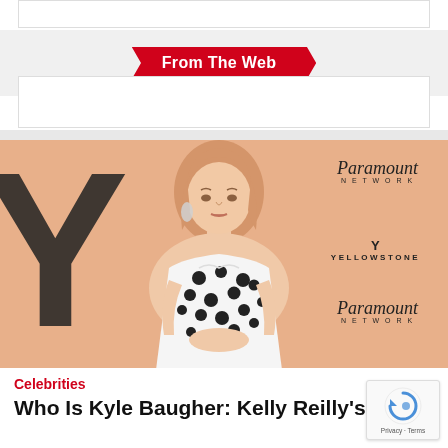From The Web
[Figure (photo): Kelly Reilly posing in a white and black polka dot strapless dress in front of a Yellowstone / Paramount Network branded backdrop with a peach/salmon colored background]
Celebrities
Who Is Kyle Baugher: Kelly Reilly's